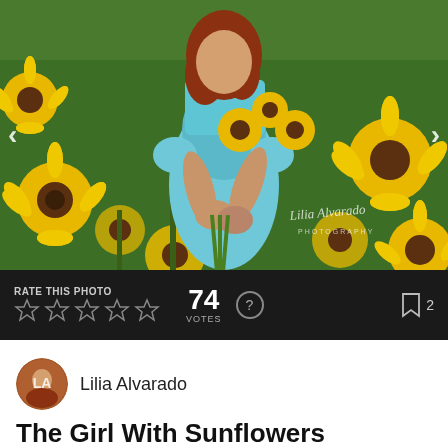[Figure (photo): A girl in a light blue dress standing in a sunflower field, holding a bouquet of sunflowers. She has red/auburn hair. A watermark reads 'Lilia Alvarado PHOTOGRAPHY'. Navigation arrows visible on left and right edges.]
RATE THIS PHOTO  74 VOTES  ?  2
Lilia Alvarado
The Girl With Sunflowers
February 9, 2021